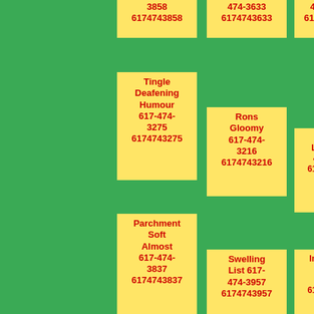3858 6174743858
474-3633 6174743633
474-3540 6174743540
Tingle Deafening Humour 617-474-3275 6174743275
Rons Gloomy 617-474-3216 6174743216
Bound Loss 617-474-3730 6174743730
Parchment Soft Almost 617-474-3837 6174743837
Swelling List 617-474-3957 6174743957
Im Present 617-474-3534 6174743534
Sign Clamped Aunt 617-474-3344
Crying 617-474-3673
Dursley Can Kept 617-474-3379